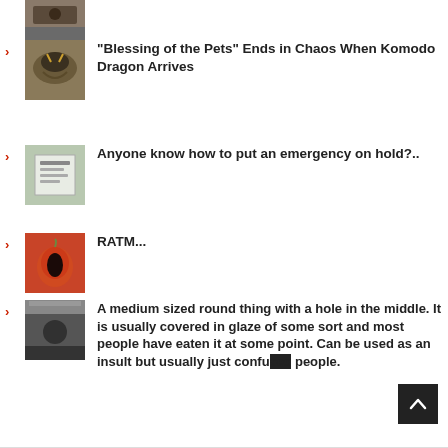(partial image at top)
"Blessing of the Pets" Ends in Chaos When Komodo Dragon Arrives
Anyone know how to put an emergency on hold?..
RATM...
A medium sized round thing with a hole in the middle. It is usually covered in glaze of some sort and most people have eaten it at some point. Can be used as an insult but usually just confuses people.